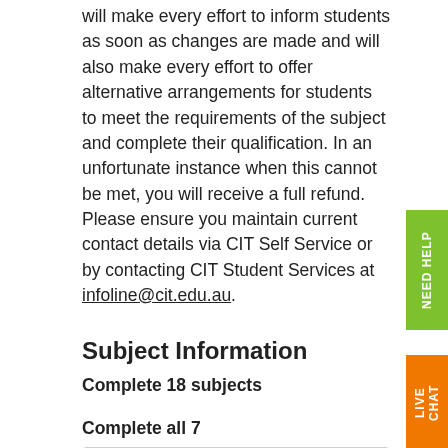will make every effort to inform students as soon as changes are made and will also make every effort to offer alternative arrangements for students to meet the requirements of the subject and complete their qualification. In an unfortunate instance when this cannot be met, you will receive a full refund. Please ensure you maintain current contact details via CIT Self Service or by contacting CIT Student Services at infoline@cit.edu.au.
Subject Information
Complete 18 subjects
Complete all 7
CPCPCM2039  Carry out interactive workplace communication
CPCPCM...